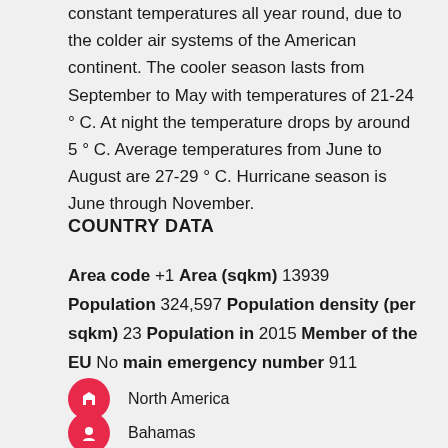constant temperatures all year round, due to the colder air systems of the American continent. The cooler season lasts from September to May with temperatures of 21-24 ° C. At night the temperature drops by around 5 ° C. Average temperatures from June to August are 27-29 ° C. Hurricane season is June through November.
COUNTRY DATA
Area code +1 Area (sqkm) 13939 Population 324,597 Population density (per sqkm) 23 Population in 2015 Member of the EU No main emergency number 911
North America
Bahamas